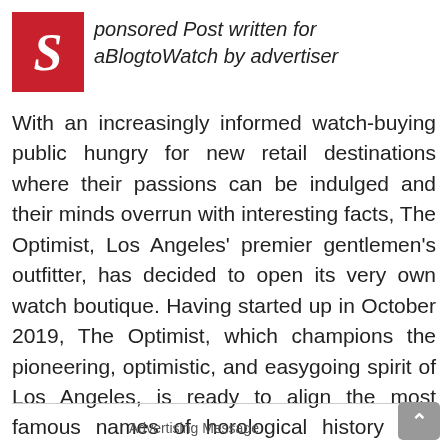Sponsored Post written for aBlogtoWatch by advertiser
With an increasingly informed watch-buying public hungry for new retail destinations where their passions can be indulged and their minds overrun with interesting facts, The Optimist, Los Angeles' premier gentlemen's outfitter, has decided to open its very own watch boutique. Having started up in October 2019, The Optimist, which champions the pioneering, optimistic, and easygoing spirit of Los Angeles, is ready to align the most famous names of horological history with some of the most exciting fashion labels in the U.S. right now. And if you're close enough to L.A. to pay a visit, the store will be throwing open its doors for a welcome event on December 5th.
Advertising Message